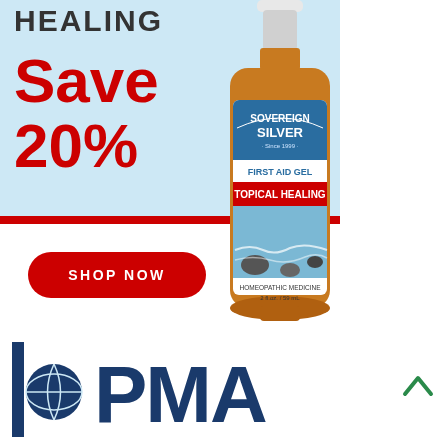[Figure (illustration): Advertisement for Sovereign Silver First Aid Gel with light blue background showing 'HEALING' text, 'Save 20%' in red, a Shop Now button, and a product bottle image]
HEALING
Save 20%
[Figure (photo): Sovereign Silver First Aid Gel product bottle - amber glass dropper bottle with label reading SOVEREIGN SILVER, Since 1999, FIRST AID GEL, TOPICAL HEALING, HOMEOPATHIC MEDICINE, 2 fl.oz. / 59 mL]
SHOP NOW
[Figure (logo): UPMA logo in dark navy blue with vertical pipe/bar before the text]